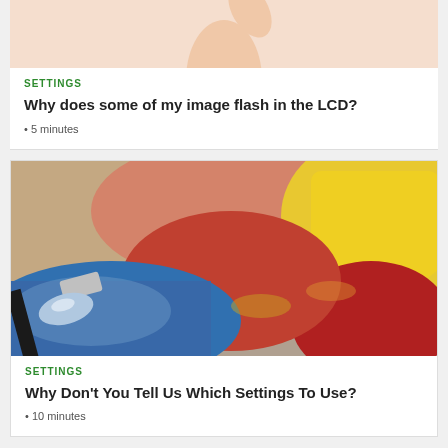[Figure (photo): Partial photo of a person raising their arm, cropped at top of page]
SETTINGS
Why does some of my image flash in the LCD?
5 minutes
[Figure (photo): Close-up photo of a paint brush on a colorful paint palette with blue, red, yellow, and brown paint mixed together]
SETTINGS
Why Don't You Tell Us Which Settings To Use?
10 minutes